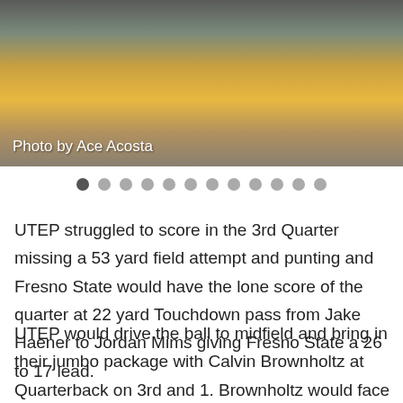[Figure (photo): A football game photo with players on the field, one wearing an orange uniform. A referee and spectators are visible in the background.]
Photo by Ace Acosta
UTEP struggled to score in the 3rd Quarter missing a 53 yard field attempt and punting and Fresno State would have the lone score of the quarter at 22 yard Touchdown pass from Jake Haener to Jordan Mims giving Fresno State a 26 to 17 lead.
UTEP would drive the ball to midfield and bring in their jumbo package with Calvin Brownholtz at Quarterback on 3rd and 1. Brownholtz would face the...